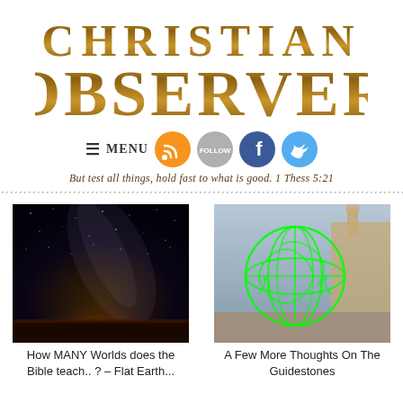[Figure (logo): Christian Observer logo in gold metallic stylized text, two lines: CHRISTIAN on top, OBSERVER below]
[Figure (infographic): Navigation bar with hamburger menu icon, MENU text, RSS button (orange circle), Follow button (gray circle), Facebook button (blue circle), Twitter button (light blue circle)]
But test all things, hold fast to what is good.  1 Thess 5:21
[Figure (photo): Night sky with Milky Way galaxy visible over a dark landscape with a warm horizon glow]
How MANY Worlds does the Bible teach.. ? – Flat Earth...
[Figure (photo): United Nations emblem in green overlaid on a historic building with green artistic graffiti-style line drawings]
A Few More Thoughts On The Guidestones